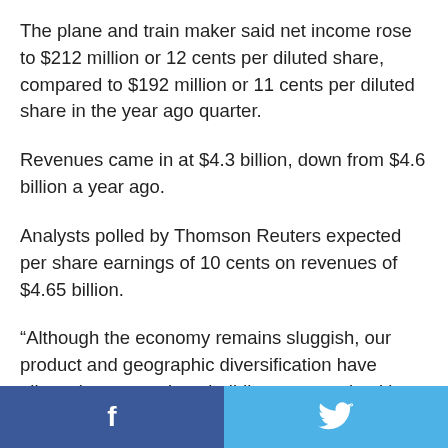The plane and train maker said net income rose to $212 million or 12 cents per diluted share, compared to $192 million or 11 cents per diluted share in the year ago quarter.
Revenues came in at $4.3 billion, down from $4.6 billion a year ago.
Analysts polled by Thomson Reuters expected per share earnings of 10 cents on revenues of $4.65 billion.
“Although the economy remains sluggish, our product and geographic diversification have allowed us to continue building a strong backlog of $58.6 billion wh maintaining sta
[Figure (other): Social sharing buttons: Facebook (dark blue) and Twitter (light blue) side by side at the bottom of the page]